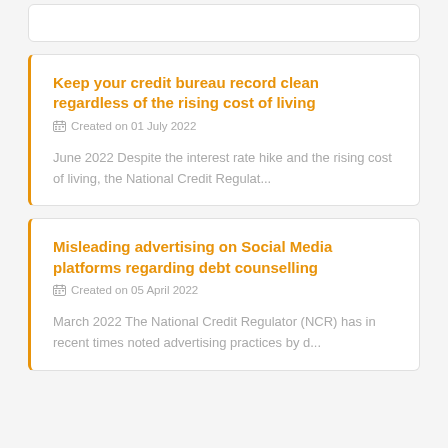Keep your credit bureau record clean regardless of the rising cost of living
Created on 01 July 2022
June 2022 Despite the interest rate hike and the rising cost of living, the National Credit Regulat...
Misleading advertising on Social Media platforms regarding debt counselling
Created on 05 April 2022
March 2022 The National Credit Regulator (NCR) has in recent times noted advertising practices by d...